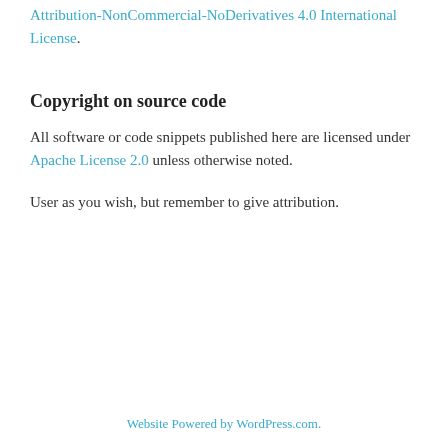Attribution-NonCommercial-NoDerivatives 4.0 International License.
Copyright on source code
All software or code snippets published here are licensed under Apache License 2.0 unless otherwise noted.
User as you wish, but remember to give attribution.
Website Powered by WordPress.com.